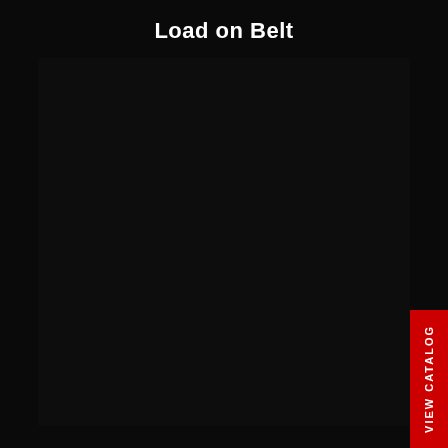Load on Belt
[Figure (photo): Dark/black photographic image of a conveyor belt load scene, nearly entirely black with minimal visible detail.]
VIEW CATALOG